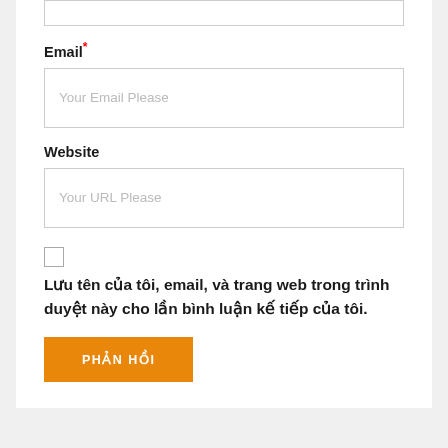Email*
Your Email Please
Website
Your URL Please
Lưu tên của tôi, email, và trang web trong trình duyệt này cho lần bình luận kế tiếp của tôi.
PHẢN HỒI